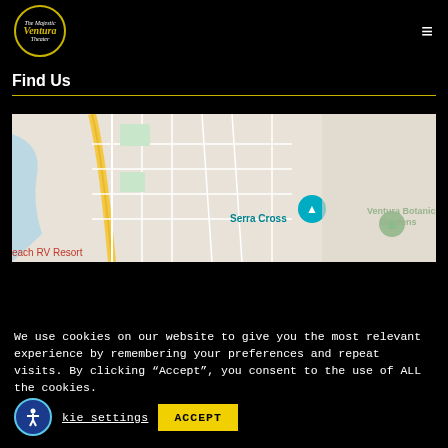The Majestic Ventura Theater — navigation header with hamburger menu
Find Us
[Figure (map): Google Maps screenshot showing Serra Cross, Ventura Botanical Gardens, and beach RV Resort area in Ventura, CA]
We use cookies on our website to give you the most relevant experience by remembering your preferences and repeat visits. By clicking “Accept”, you consent to the use of ALL the cookies.
kie settings   ACCEPT